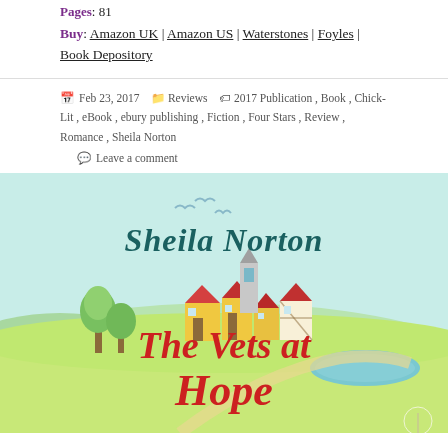Pages: 81
Buy: Amazon UK | Amazon US | Waterstones | Foyles | Book Depository
Feb 23, 2017  Reviews  2017 Publication, Book, Chick-Lit, eBook, ebury publishing, Fiction, Four Stars, Review, Romance, Sheila Norton
Leave a comment
[Figure (illustration): Book cover of 'The Vets at Hope...' by Sheila Norton, showing a colourful illustrated village scene with yellow-roofed cottages, trees, a pond, birds, rolling green hills, and the title text in large red lettering at the bottom.]